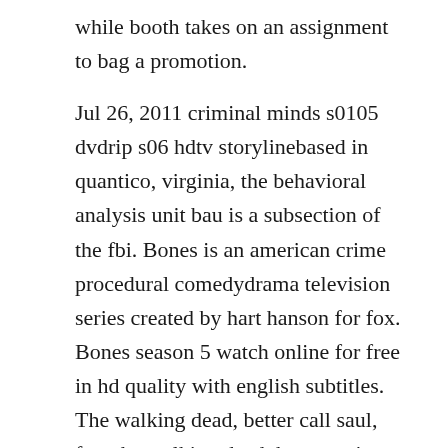while booth takes on an assignment to bag a promotion.

Jul 26, 2011 criminal minds s0105 dvdrip s06 hdtv storylinebased in quantico, virginia, the behavioral analysis unit bau is a subsection of the fbi. Bones is an american crime procedural comedydrama television series created by hart hanson for fox. Bones season 5 watch online for free in hd quality with english subtitles. The walking dead, better call saul, fear the walking dead, humans, into the badlands and more x amc latest full episodes and extras.